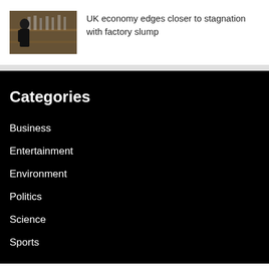[Figure (photo): A person in a dark workshop or bar setting with equipment/bottles in the background]
UK economy edges closer to stagnation with factory slump
Categories
Business
Entertainment
Environment
Politics
Science
Sports